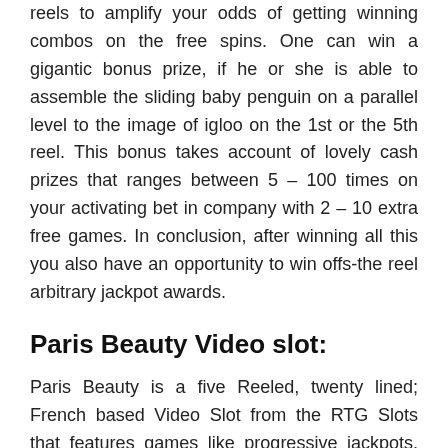reels to amplify your odds of getting winning combos on the free spins. One can win a gigantic bonus prize, if he or she is able to assemble the sliding baby penguin on a parallel level to the image of igloo on the 1st or the 5th reel. This bonus takes account of lovely cash prizes that ranges between 5 – 100 times on your activating bet in company with 2 – 10 extra free games. In conclusion, after winning all this you also have an opportunity to win offs-the reel arbitrary jackpot awards.
Paris Beauty Video slot:
Paris Beauty is a five Reeled, twenty lined; French based Video Slot from the RTG Slots that features games like progressive jackpots, wild symbols, 12 Free Spins, multipliers, scatters that gives them a lot of ways to win the Paris Beauty slot game. The objective of Paris Beauty is to assemble the matching Symbols on the pay lines.